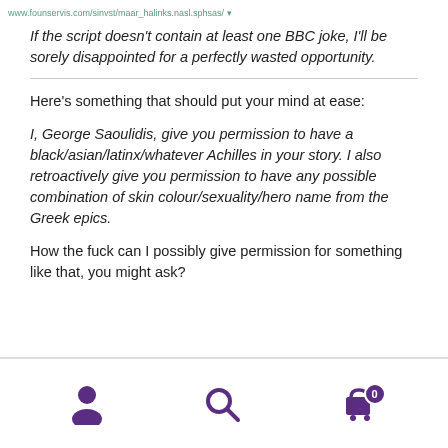www.founservis.com/sinvst/maar_halinks.nasl.sphsas/
If the script doesn't contain at least one BBC joke, I'll be sorely disappointed for a perfectly wasted opportunity.
Here's something that should put your mind at ease:
I, George Saoulidis, give you permission to have a black/asian/latinx/whatever Achilles in your story. I also retroactively give you permission to have any possible combination of skin colour/sexuality/hero name from the Greek epics.
How the fuck can I possibly give permission for something like that, you might ask?
navigation icons: user, search, cart (0)